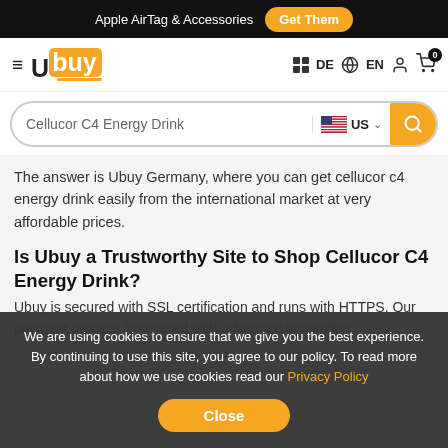Apple AirTag & Accessories  Get Them
[Figure (screenshot): Ubuy logo with hamburger menu, DE language selector, EN language selector, user icon, and shopping cart with 0 items]
[Figure (screenshot): Search bar with text 'Cellucor C4 Energy Drink', US flag country selector, and search button]
The answer is Ubuy Germany, where you can get cellucor c4 energy drink easily from the international market at very affordable prices.
Is Ubuy a Trustworthy Site to Shop Cellucor C4 Energy Drink?
Ubuy is secured with SSL certification and runs with HTTPS. Our payment process is secured with advanced encryption
We are using cookies to ensure that we give you the best experience. By continuing to use this site, you agree to our policy. To read more about how we use cookies read our Privacy Policy